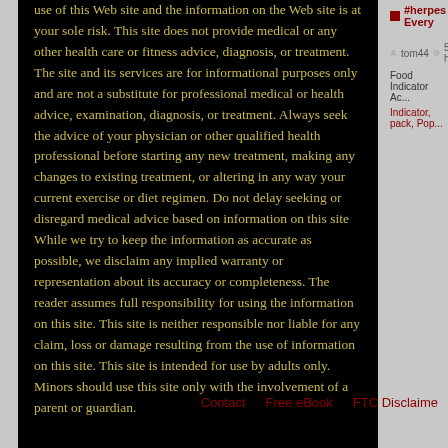use of this Web site and the information on the Web site is at your sole risk. This site does not provide medical or any other health care or fitness advice, diagnosis, or treatment. The site and its services are for informational purposes only and are not a substitute for professional medical or health advice, examination, diagnosis, or treatment. Always seek the advice of your physician or other qualified health professional before starting any new treatment, making any changes to existing treatment, or altering in any way your current exercise or diet regimen. Do not delay seeking or disregard medical advice based on information on this site While we try to keep the information as accurate as possible, we disclaim any implied warranty or representation about its accuracy or completeness. The reader assumes full responsibility for using the information on this site. This site is neither responsible nor liable for any claim, loss or damage resulting from the use of information on this site. This site is intended for use by adults only. Minors should use this site only with the involvement of a parent or guardian.
#herpes Every...
tom44  5 h...
Food Indicator Ac...
Indicator, pack, Pop...
Contact   Free eBook   FTC Disclaimer